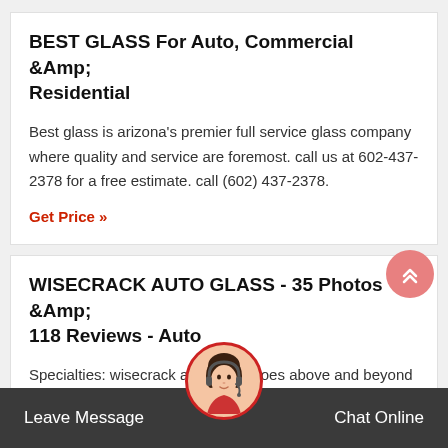BEST GLASS For Auto, Commercial &Amp; Residential
Best glass is arizona's premier full service glass company where quality and service are foremost. call us at 602-437-2378 for a free estimate. call (602) 437-2378.
Get Price »
WISECRACK AUTO GLASS - 35 Photos &Amp; 118 Reviews - Auto
Specialties: wisecrack auto glass goes above and beyond for our customers. we also replace wi... ulators, great pricing and cus... speciali... repair of v... s, windshield star repair and windshield replacements.
Leave Message
Chat Online